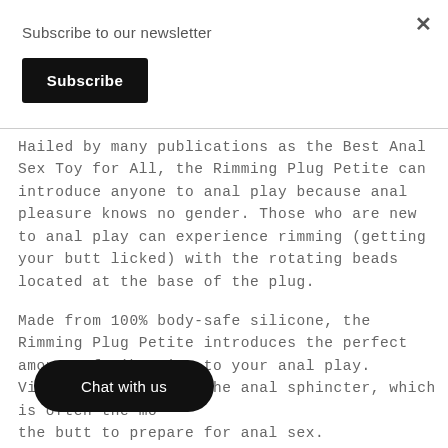Subscribe to our newsletter
Subscribe
Hailed by many publications as the Best Anal Sex Toy for All, the Rimming Plug Petite can introduce anyone to anal play because anal pleasure knows no gender. Those who are new to anal play can experience rimming (getting your butt licked) with the rotating beads located at the base of the plug.
Made from 100% body-safe silicone, the Rimming Plug Petite introduces the perfect amount of vibration to your anal play. Vib[...] lax the anal sphincter, which is often the mo[...] the butt to prepare for anal sex.
Chat with us